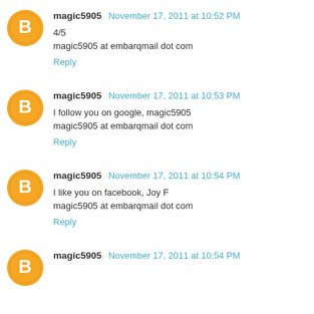magic5905 November 17, 2011 at 10:52 PM
4/5
magic5905 at embarqmail dot com
Reply
magic5905 November 17, 2011 at 10:53 PM
I follow you on google, magic5905
magic5905 at embarqmail dot com
Reply
magic5905 November 17, 2011 at 10:54 PM
I like you on facebook, Joy F
magic5905 at embarqmail dot com
Reply
magic5905 November 17, 2011 at 10:54 PM